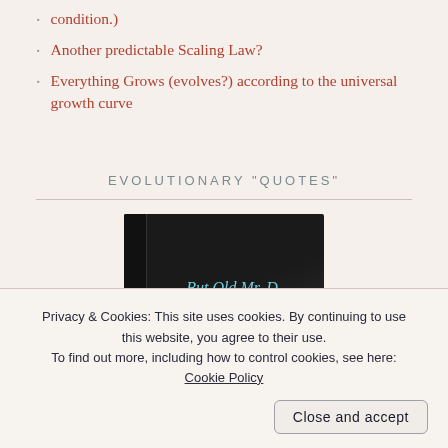condition.)
Another predictable Scaling Law?
Everything Grows (evolves?) according to the universal growth curve
EVOLUTIONARY “QUOTES”
[Figure (photo): A black book with cyan/blue title text reading 'But Old Mr. Da...' shown at an angle]
Privacy & Cookies: This site uses cookies. By continuing to use this website, you agree to their use.
To find out more, including how to control cookies, see here: Cookie Policy
Close and accept